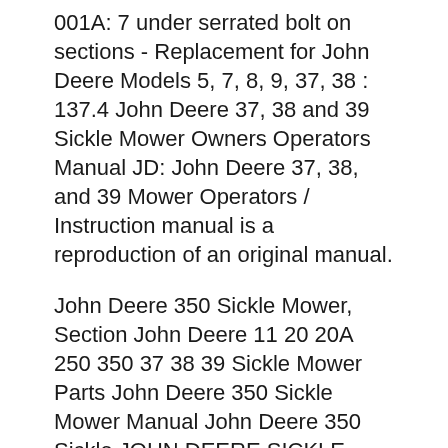001A: 7 under serrated bolt on sections - Replacement for John Deere Models 5, 7, 8, 9, 37, 38 : 137.4 John Deere 37, 38 and 39 Sickle Mower Owners Operators Manual JD: John Deere 37, 38, and 39 Mower Operators / Instruction manual is a reproduction of an original manual.
John Deere 350 Sickle Mower, Section John Deere 11 20 20A 250 350 37 38 39 Sickle Mower Parts John Deere 350 Sickle Mower Manual John Deere 350 Sickle JOHN DEERE SICKLE Mower Pitman Arm Strap JD No. 5 8 9 37 38 39 H22717 H22718H #2 - $75.00. Very Good usable parts. Fits most JD sickle mowers...